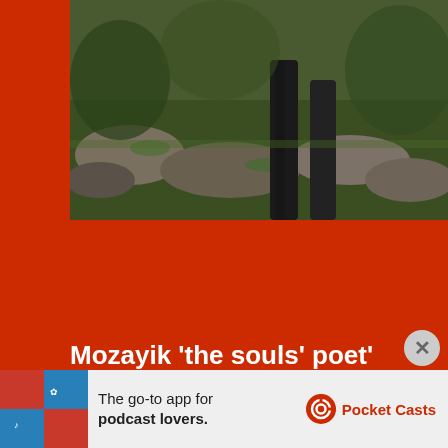[Figure (photo): Outdoor photo showing mossy rocks, green grass, and what appears to be the legs/lower body of a sculpture or dark statue in a natural setting]
Mozayik ‘the souls’ poet’
Follow me on Twitter
[Figure (screenshot): Twitter/social media card showing user Yvette M... @... Apr 18 with a profile photo of a person wearing glasses]
[Figure (other): Advertisement banner: The go-to app for podcast lovers. Pocket Casts logo]